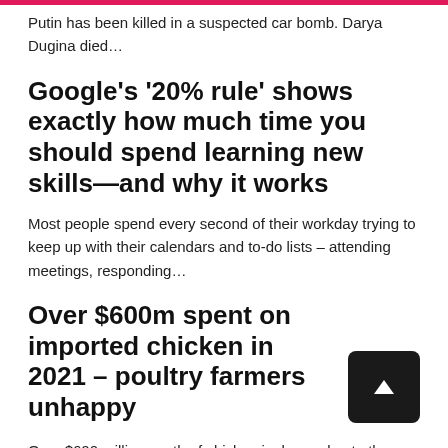Putin has been killed in a suspected car bomb. Darya Dugina died…
Google's '20% rule' shows exactly how much time you should spend learning new skills—and why it works
Most people spend every second of their workday trying to keep up with their calendars and to-do lists – attending meetings, responding…
Over $600m spent on imported chicken in 2021 – poultry farmers unhappy
Over $600 million worth of chicken is dumped onto the Ghanaian market annually. This is…